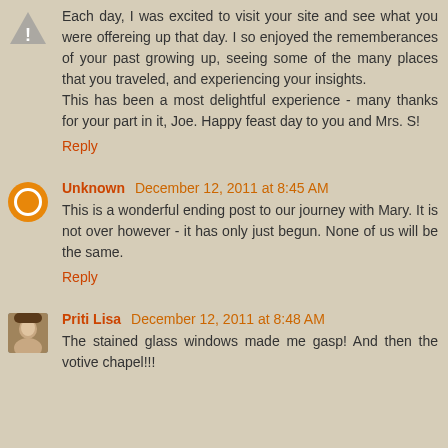Each day, I was excited to visit your site and see what you were offereing up that day. I so enjoyed the rememberances of your past growing up, seeing some of the many places that you traveled, and experiencing your insights.
This has been a most delightful experience - many thanks for your part in it, Joe. Happy feast day to you and Mrs. S!
Reply
Unknown December 12, 2011 at 8:45 AM
This is a wonderful ending post to our journey with Mary. It is not over however - it has only just begun. None of us will be the same.
Reply
Priti Lisa December 12, 2011 at 8:48 AM
The stained glass windows made me gasp! And then the votive chapel!!!